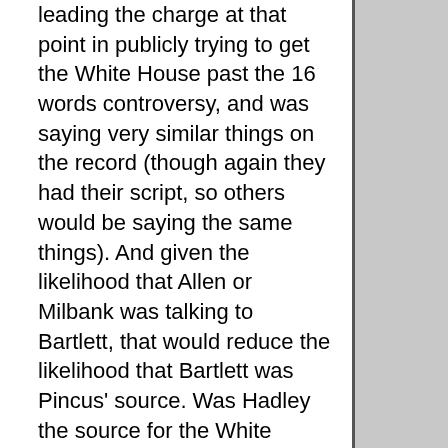leading the charge at that point in publicly trying to get the White House past the 16 words controversy, and was saying very similar things on the record (though again they had their script, so others would be saying the same things). And given the likelihood that Allen or Milbank was talking to Bartlett, that would reduce the likelihood that Bartlett was Pincus' source. Was Hadley the source for the White House's